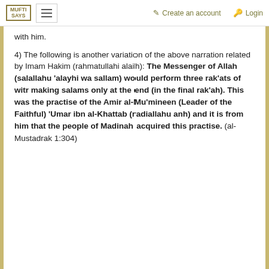MUFTI SAYS  ☰  ✎ Create an account  🔑 Login
with him.
4) The following is another variation of the above narration related by Imam Hakim (rahmatullahi alaih): The Messenger of Allah (salallahu 'alayhi wa sallam) would perform three rak'ats of witr making salams only at the end (in the final rak'ah). This was the practise of the Amir al-Mu'mineen (Leader of the Faithful) 'Umar ibn al-Khattab (radiallahu anh) and it is from him that the people of Madinah acquired this practise. (al-Mustadrak 1:304)